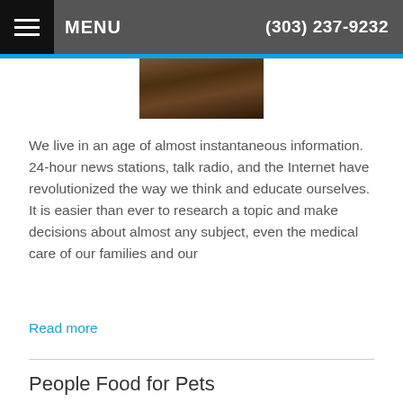MENU  (303) 237-9232
[Figure (photo): Partial photo of an animal, cropped at top of page]
We live in an age of almost instantaneous information. 24-hour news stations, talk radio, and the Internet have revolutionized the way we think and educate ourselves. It is easier than ever to research a topic and make decisions about almost any subject, even the medical care of our families and our
Read more
People Food for Pets
Category: Video Newsroom, Other Interests
[Figure (photo): Partial photo at bottom of page]
Accessibility View